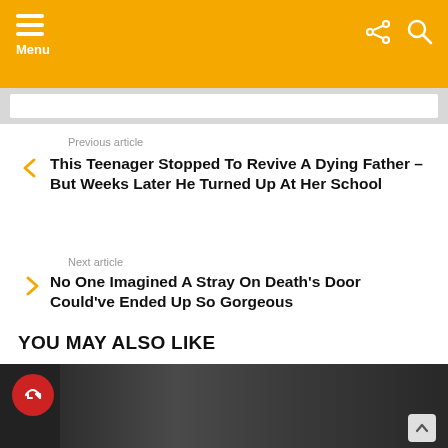Menu
Previous article
This Teenager Stopped To Revive A Dying Father – But Weeks Later He Turned Up At Her School
Next article
No One Imagined A Stray On Death's Door Could've Ended Up So Gorgeous
YOU MAY ALSO LIKE
[Figure (photo): Promotional image with red badge icon and dark background showing people]